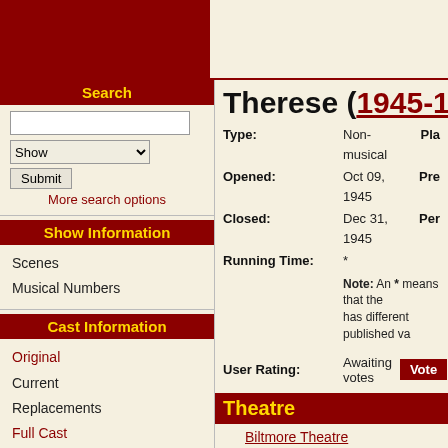Search
Show / Submit / More search options
Show Information
Scenes
Musical Numbers
Cast Information
Original
Current
Replacements
Full Cast
Therese (1945-194
Type: Non-musical  Pla
Opened: Oct 09, 1945  Pre
Closed: Dec 31, 1945  Per
Running Time: *
Note: An * means that the has different published va
User Rating: Awaiting votes Vote
Theatre
Biltmore Theatre
Artistic/Production Sta